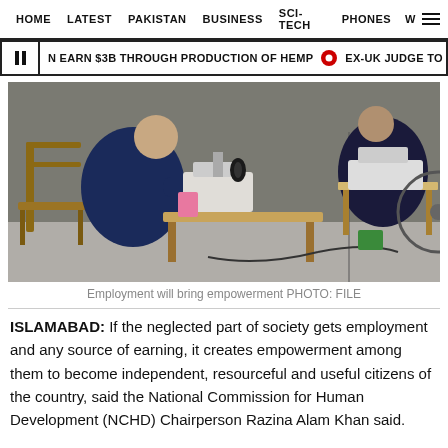HOME  LATEST  PAKISTAN  BUSINESS  SCI-TECH  PHONES  W
EARN $3B THROUGH PRODUCTION OF HEMP   EX-UK JUDGE TO HEAD TRIBUNA
[Figure (photo): Two people sitting at sewing machines in a workshop setting, working on industrial sewing equipment.]
Employment will bring empowerment PHOTO: FILE
ISLAMABAD: If the neglected part of society gets employment and any source of earning, it creates empowerment among them to become independent, resourceful and useful citizens of the country, said the National Commission for Human Development (NCHD) Chairperson Razina Alam Khan said.